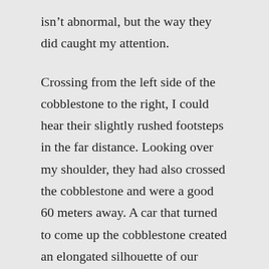isn't abnormal, but the way they did caught my attention.
Crossing from the left side of the cobblestone to the right, I could hear their slightly rushed footsteps in the far distance. Looking over my shoulder, they had also crossed the cobblestone and were a good 60 meters away. A car that turned to come up the cobblestone created an elongated silhouette of our relative proximity. Because of the angle of the light, our shadows were 100 feet long and I couldn't judge their distance from me. Something felt wrong and I decided to cross the street one last time to interrogate their motives.
As I did so, another care turned up the cobblestone and